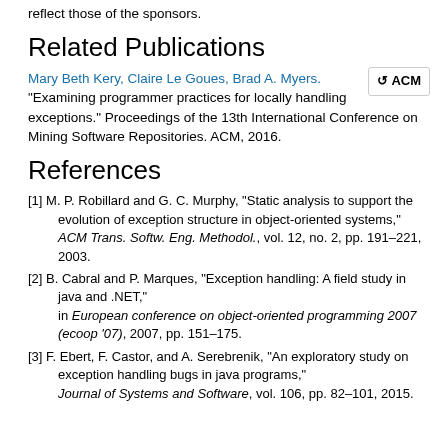reflect those of the sponsors.
Related Publications
Mary Beth Kery, Claire Le Goues, Brad A. Myers. “Examining programmer practices for locally handling exceptions.” Proceedings of the 13th International Conference on Mining Software Repositories. ACM, 2016.
References
[1] M. P. Robillard and G. C. Murphy, “Static analysis to support the evolution of exception structure in object-oriented systems,” ACM Trans. Softw. Eng. Methodol., vol. 12, no. 2, pp. 191–221, 2003.
[2] B. Cabral and P. Marques, “Exception handling: A field study in java and .NET,” in European conference on object-oriented programming 2007 (ecoop ’07), 2007, pp. 151–175.
[3] F. Ebert, F. Castor, and A. Serebrenik, “An exploratory study on exception handling bugs in java programs,” Journal of Systems and Software, vol. 106, pp. 82–101, 2015.